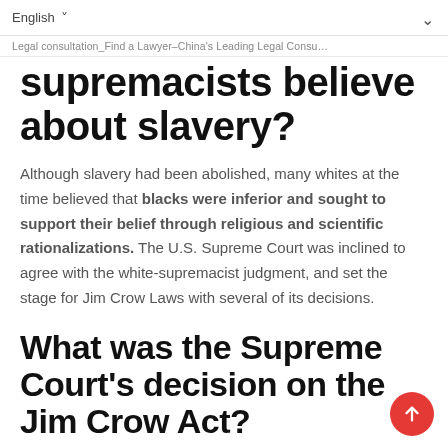English
Legal consultation_Find a Lawyer-China's Leading Legal Consu...
supremacists believe about slavery?
Although slavery had been abolished, many whites at the time believed that blacks were inferior and sought to support their belief through religious and scientific rationalizations. The U.S. Supreme Court was inclined to agree with the white-supremacist judgment, and set the stage for Jim Crow Laws with several of its decisions.
What was the Supreme Court's decision on the Jim Crow Act?
In 1883, the Supreme Court declared the Civil